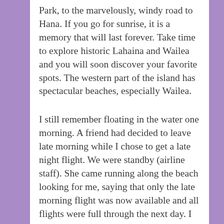Park, to the marvelously, windy road to Hana. If you go for sunrise, it is a memory that will last forever. Take time to explore historic Lahaina and Wailea and you will soon discover your favorite spots. The western part of the island has spectacular beaches, especially Wailea.
I still remember floating in the water one morning. A friend had decided to leave late morning while I chose to get a late night flight. We were standby (airline staff). She came running along the beach looking for me, saying that only the late morning flight was now available and all flights were full through the next day. I never dressed and packed so quickly. We did get boarded on the late morning flight and spent the afternoon in Waikiki, laughing as only stand-bys can when